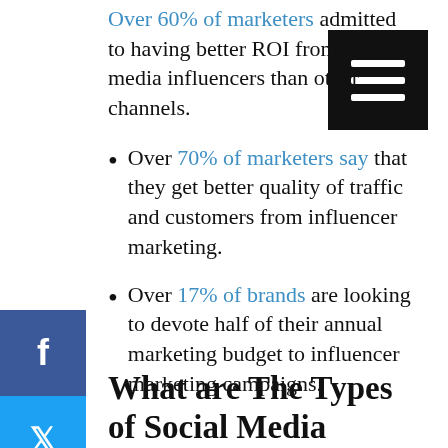Over 60% of marketers admitted to having better ROI from social media influencers than other channels.
Over 70% of marketers say that they get better quality of traffic and customers from influencer marketing.
Over 17% of brands are looking to devote half of their annual marketing budget to influencer marketing campaigns.
What are The Types of Social Media